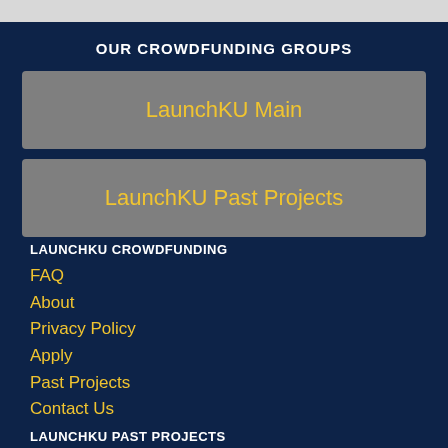OUR CROWDFUNDING GROUPS
LaunchKU Main
LaunchKU Past Projects
LAUNCHKU CROWDFUNDING
FAQ
About
Privacy Policy
Apply
Past Projects
Contact Us
LAUNCHKU PAST PROJECTS